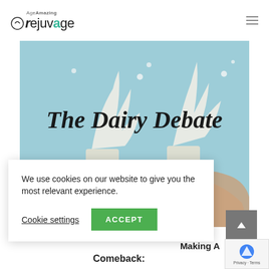rejuvage | Age Amazing
[Figure (photo): Hero image showing two glasses of milk with splashing milk against a light blue background. Overlaid text reads 'The Dairy Debate' in a handwritten/italic serif font. A hand holds one of the glasses.]
We use cookies on our website to give you the most relevant experience.
Cookie settings    ACCEPT
Making A
Comeback: